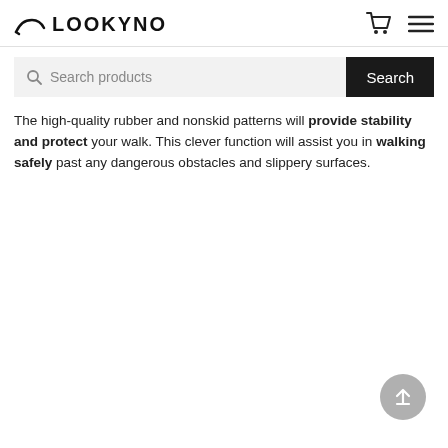LOOKYNO
The high-quality rubber and nonskid patterns will provide stability and protect your walk. This clever function will assist you in walking safely past any dangerous obstacles and slippery surfaces.